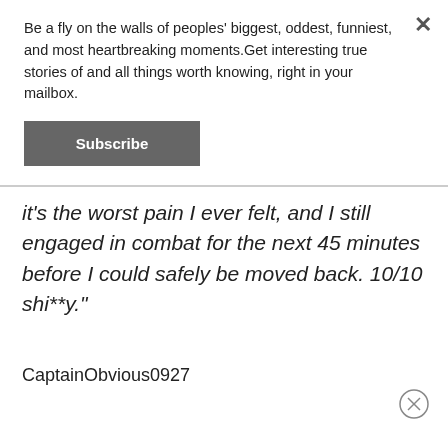Be a fly on the walls of peoples' biggest, oddest, funniest, and most heartbreaking moments.Get interesting true stories of and all things worth knowing, right in your mailbox.
Subscribe
it's the worst pain I ever felt, and I still engaged in combat for the next 45 minutes before I could safely be moved back. 10/10 shi**y."
CaptainObvious0927